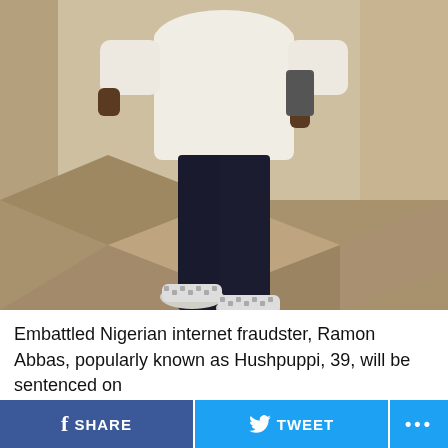[Figure (photo): A person wearing a white hoodie sweatshirt, black skinny jeans, and white patterned sneakers (Dior), holding a phone, standing outdoors on a tiled floor against a stone/concrete wall. The person's head is not visible in the frame.]
Embattled Nigerian internet fraudster, Ramon Abbas, popularly known as Hushpuppi, 39, will be sentenced on